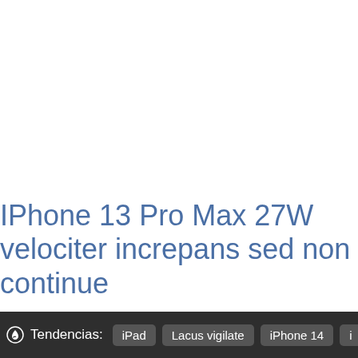IPhone 13 Pro Max 27W velociter increpans sed non continue
Tendencias: iPad  Lacus vigilate  iPhone 14  i...